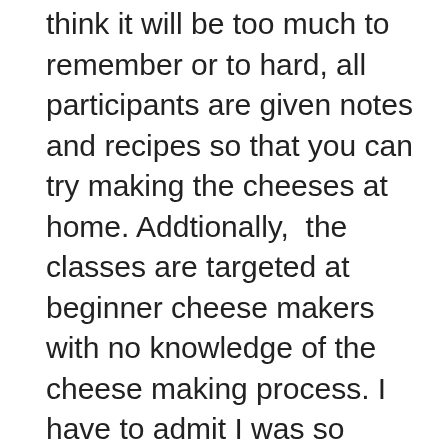think it will be too much to remember or to hard, all participants are given notes and recipes so that you can try making the cheeses at home. Addtionally,  the classes are targeted at beginner cheese makers with no knowledge of the cheese making process. I have to admit I was so inspired by the workshop that I made goat cheese ricotta a few weeks later.